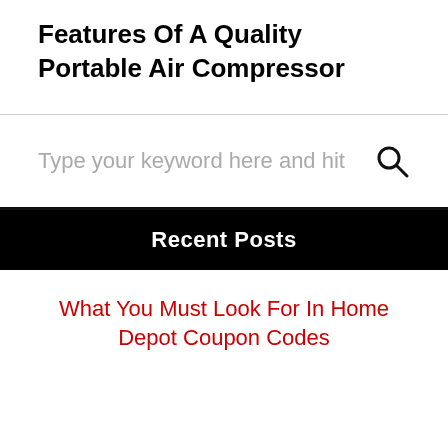Features Of A Quality Portable Air Compressor
Type your keyword here and hit
Recent Posts
What You Must Look For In Home Depot Coupon Codes